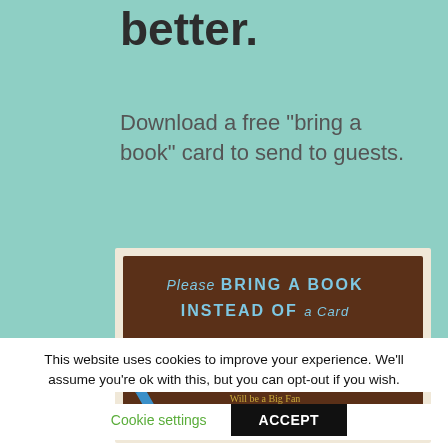better.
Download a free "bring a book" card to send to guests.
[Figure (illustration): Brown decorative card with text: 'Please BRING A BOOK INSTEAD OF a Card. Whether is Goodnight Moon, Or Green Eggs and Ham, We're Sure the New Mom, Will be a Big Fan, Please Leave a Note'. Blue crayon illustration at bottom.]
This website uses cookies to improve your experience. We'll assume you're ok with this, but you can opt-out if you wish.
Cookie settings   ACCEPT